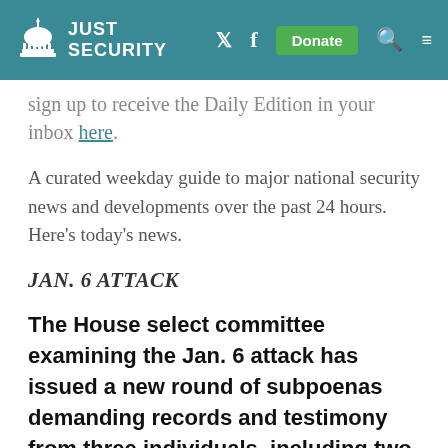JUST SECURITY
sign up to receive the Daily Edition in your inbox here.
A curated weekday guide to major national security news and developments over the past 24 hours. Here’s today’s news.
JAN. 6 ATTACK
The House select committee examining the Jan. 6 attack has issued a new round of subpoenas demanding records and testimony from three individuals, including two advisers of former President Trump who